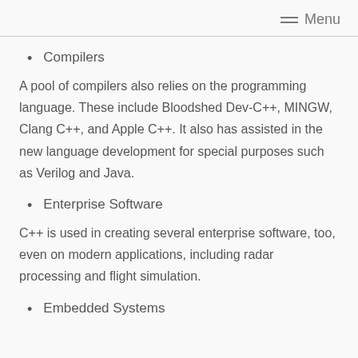Menu
Compilers
A pool of compilers also relies on the programming language. These include Bloodshed Dev-C++, MINGW, Clang C++, and Apple C++. It also has assisted in the new language development for special purposes such as Verilog and Java.
Enterprise Software
C++ is used in creating several enterprise software, too, even on modern applications, including radar processing and flight simulation.
Embedded Systems